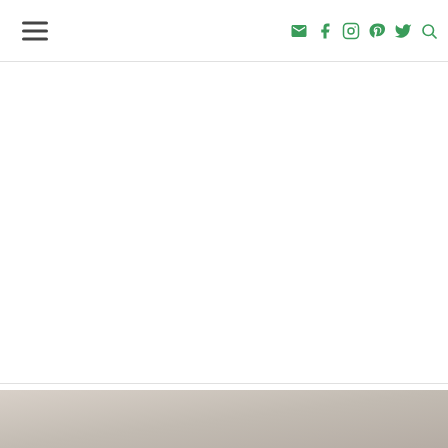Navigation bar with hamburger menu and social icons (email, facebook, instagram, pinterest, twitter, search)
I've told Emily to watch out, we can keep an eye on her in her room from all the way around the cover now. :)
BACK TO TOP
[Figure (photo): Partial footer image strip showing a light beige/grey background, appears to be a decorative or room photo]